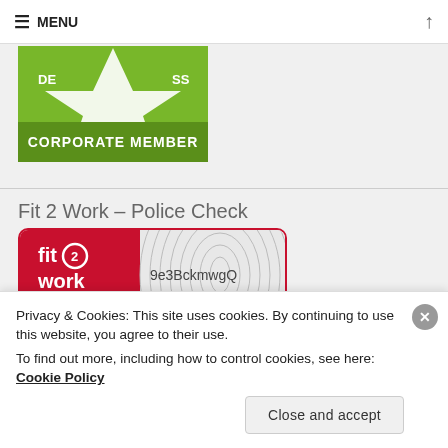≡ MENU
[Figure (logo): Green star corporate member badge with text 'CORPORATE MEMBER']
Fit 2 Work – Police Check
[Figure (screenshot): Fit2Work police check certificate showing code 9e3BckmwgQ AS AT: 13 NOV 2020]
Privacy & Cookies: This site uses cookies. By continuing to use this website, you agree to their use.
To find out more, including how to control cookies, see here:
Cookie Policy